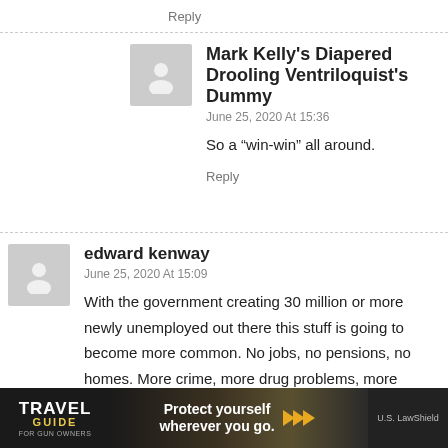Reply
Mark Kelly's Diapered Drooling Ventriloquist's Dummy
June 25, 2020 At 15:36
So a “win-win” all around.
Reply
edward kenway
June 25, 2020 At 15:09
With the government creating 30 million or more newly unemployed out there this stuff is going to become more common. No jobs, no pensions, no homes. More crime, more drug problems, more misery.
What, or who is causing it all, and why? People need
[Figure (infographic): Travel Guide for Gun Owners advertisement banner. Text reads 'TRAVEL GUIDE FOR GUN OWNERS', 'Protect yourself wherever you go.' with arrow graphics and U.S. LawShield branding.]